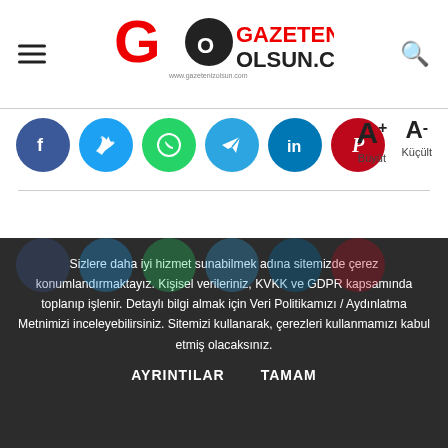GAZETENİZ OLSUN.COM
[Figure (infographic): Social share buttons: Facebook, Twitter, WhatsApp, Telegram, LinkedIn, Pinterest circles; font size controls A+ (Büyüt) and A- (Küçült)]
Sizlere daha iyi hizmet sunabilmek adına sitemizde çerez konumlandırmaktayız. Kişisel verileriniz, KVKK ve GDPR kapsamında toplanıp işlenir. Detaylı bilgi almak için Veri Politikamızı / Aydınlatma Metnimizi inceleyebilirsiniz. Sitemizi kullanarak, çerezleri kullanmamızı kabul etmiş olacaksınız.
AYRINTILAR   TAMAM